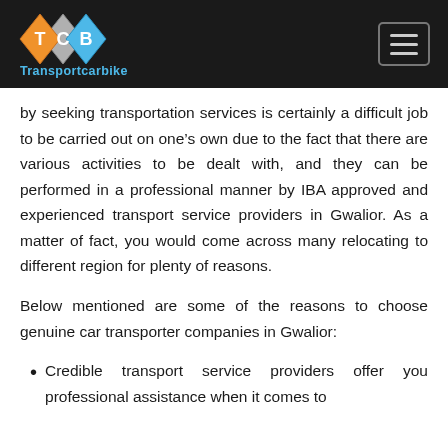Transportcarbike
by seeking transportation services is certainly a difficult job to be carried out on one’s own due to the fact that there are various activities to be dealt with, and they can be performed in a professional manner by IBA approved and experienced transport service providers in Gwalior. As a matter of fact, you would come across many relocating to different region for plenty of reasons.
Below mentioned are some of the reasons to choose genuine car transporter companies in Gwalior:
Credible transport service providers offer you professional assistance when it comes to